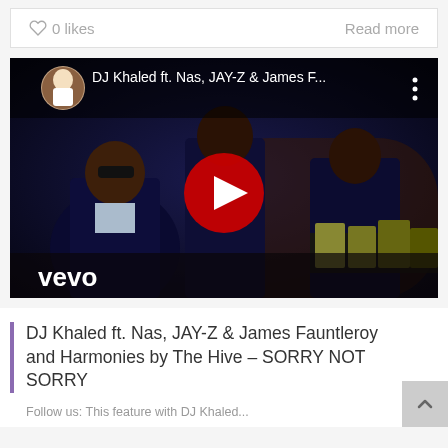0 likes
Read more
[Figure (screenshot): YouTube/Vevo embedded video thumbnail showing DJ Khaled ft. Nas, JAY-Z & James F... music video with three men in suits seated at a table. Red YouTube play button overlay. Vevo logo in bottom left. DJ Khaled thumbnail image in top left corner.]
DJ Khaled ft. Nas, JAY-Z & James Fauntleroy and Harmonies by The Hive – SORRY NOT SORRY
Follow us: This feature with DJ Khaled...